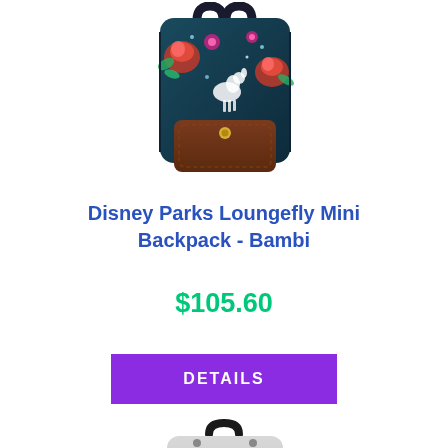[Figure (photo): Bambi-themed Loungefly mini backpack with dark floral pattern and brown leather-look front pocket, shown from front/top angle]
Disney Parks Loungefly Mini Backpack - Bambi
$105.60
DETAILS
[Figure (photo): Gray/silver art deco style Loungefly mini backpack with geometric semicircle design, shown from front angle with black straps]